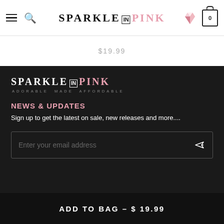SPARKLE IN PINK — navigation bar with hamburger, search, diamond icon, cart (0)
$19.99
[Figure (logo): Sparkle in Pink logo — ADORABLE MADE AFFORDABLE tagline on dark background]
NEWS & UPDATES
Sign up to get the latest on sale, new releases and more....
Enter your email address
ADD TO BAG – $ 19.99